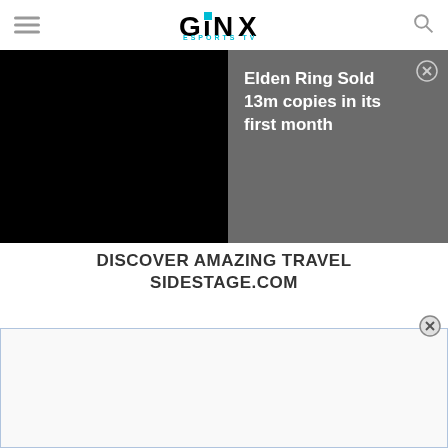GINX ESPORTS TV
[Figure (screenshot): Black video player placeholder]
Elden Ring Sold 13m copies in its first month
DISCOVER AMAZING TRAVEL SIDESTAGE.COM
[Figure (other): Bottom advertisement banner]